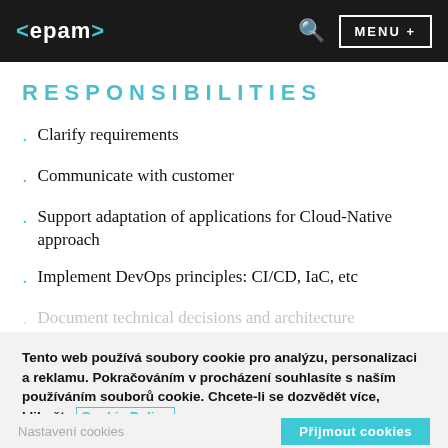<epam> MENU +
RESPONSIBILITIES
Clarify requirements
Communicate with customer
Support adaptation of applications for Cloud-Native approach
Implement DevOps principles: CI/CD, IaC, etc
(partially visible, faded)
Tento web používá soubory cookie pro analýzu, personalizaci a reklamu. Pokračováním v procházení souhlasíte s naším používáním souborů cookie. Chcete-li se dozvědět více, klikněte Cookie Policy